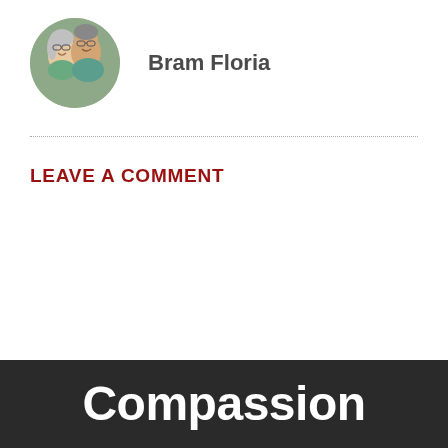[Figure (photo): Circular avatar photo of two people (a couple, man and woman) smiling, outdoors in front of trees]
Bram Floria
LEAVE A COMMENT
Compassion